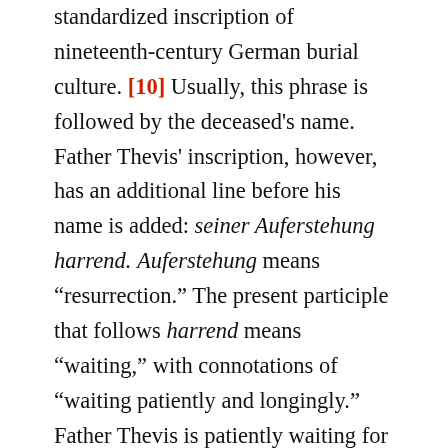standardized inscription of nineteenth-century German burial culture. [10] Usually, this phrase is followed by the deceased's name. Father Thevis' inscription, however, has an additional line before his name is added: seiner Auferstehung harrend. Auferstehung means “resurrection.” The present participle that follows harrend means “waiting,” with connotations of “waiting patiently and longingly.” Father Thevis is patiently waiting for Judgment Day, the day his body is reunited with his soul and he will be called upwards to heaven. The first two lines of the inscription, therefore, implicitly